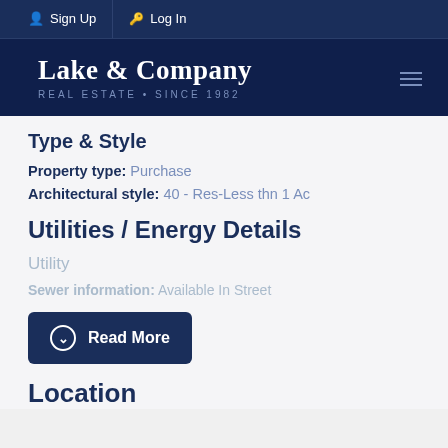Sign Up  Log In
[Figure (logo): Lake & Company Real Estate Since 1982 logo on dark navy background]
Type & Style
Property type: Purchase
Architectural style: 40 - Res-Less thn 1 Ac
Utilities / Energy Details
Utility
Sewer information: Available In Street
Read More
Location